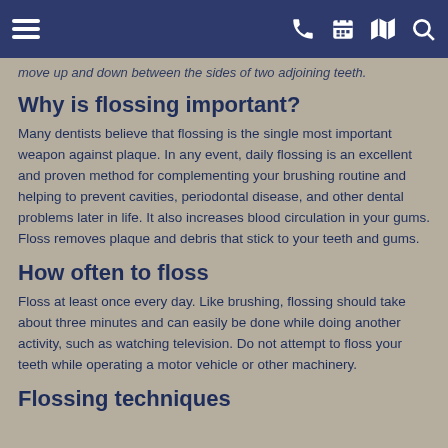Navigation bar with menu, phone, calendar, map, and search icons
move up and down between the sides of two adjoining teeth.
Why is flossing important?
Many dentists believe that flossing is the single most important weapon against plaque. In any event, daily flossing is an excellent and proven method for complementing your brushing routine and helping to prevent cavities, periodontal disease, and other dental problems later in life. It also increases blood circulation in your gums. Floss removes plaque and debris that stick to your teeth and gums.
How often to floss
Floss at least once every day. Like brushing, flossing should take about three minutes and can easily be done while doing another activity, such as watching television. Do not attempt to floss your teeth while operating a motor vehicle or other machinery.
Flossing techniques